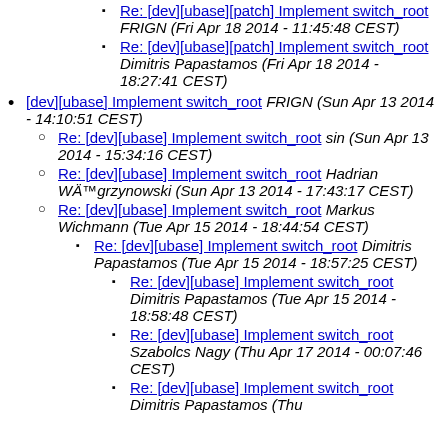Re: [dev][ubase][patch] Implement switch_root FRIGN (Fri Apr 18 2014 - 11:45:48 CEST)
Re: [dev][ubase][patch] Implement switch_root Dimitris Papastamos (Fri Apr 18 2014 - 18:27:41 CEST)
[dev][ubase] Implement switch_root FRIGN (Sun Apr 13 2014 - 14:10:51 CEST)
Re: [dev][ubase] Implement switch_root sin (Sun Apr 13 2014 - 15:34:16 CEST)
Re: [dev][ubase] Implement switch_root Hadrian WÄ™grzynowski (Sun Apr 13 2014 - 17:43:17 CEST)
Re: [dev][ubase] Implement switch_root Markus Wichmann (Tue Apr 15 2014 - 18:44:54 CEST)
Re: [dev][ubase] Implement switch_root Dimitris Papastamos (Tue Apr 15 2014 - 18:57:25 CEST)
Re: [dev][ubase] Implement switch_root Dimitris Papastamos (Tue Apr 15 2014 - 18:58:48 CEST)
Re: [dev][ubase] Implement switch_root Szabolcs Nagy (Thu Apr 17 2014 - 00:07:46 CEST)
Re: [dev][ubase] Implement switch_root Dimitris Papastamos (Thu...